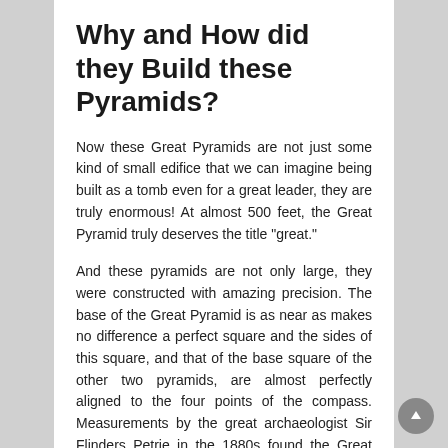Why and How did they Build these Pyramids?
Now these Great Pyramids are not just some kind of small edifice that we can imagine being built as a tomb even for a great leader, they are truly enormous! At almost 500 feet, the Great Pyramid truly deserves the title "great."
And these pyramids are not only large, they were constructed with amazing precision. The base of the Great Pyramid is as near as makes no difference a perfect square and the sides of this square, and that of the base square of the other two pyramids, are almost perfectly aligned to the four points of the compass. Measurements by the great archaeologist Sir Flinders Petrie in the 1880s found the Great Pyramid and Khafre's pyramids to be oriented four minutes West of North, which corresponds to the position of North back in 2467 B.C.E.